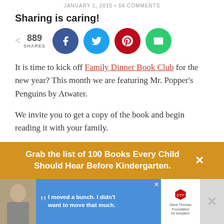JANUARY 1, 2015 • 64 COMMENTS
Sharing is caring!
[Figure (infographic): Social share bar showing 889 shares and buttons for Facebook, Twitter, Pinterest, and Email]
It is time to kick off Family Dinner Book Club for the new year? This month we are featuring Mr. Popper's Penguins by Atwater.
We invite you to get a copy of the book and begin reading it with your family.
Grab the list of 100 Books Every Child Should Hear Before Kindergarten.
[Figure (photo): Advertisement banner: boy with quote 'I moved a bunch. I didn't want to move that much.' Dave Thomas Foundation for Adoption]